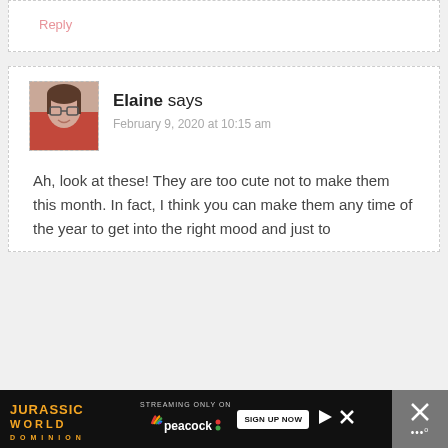Reply
Elaine says
February 9, 2020 at 10:15 am
Ah, look at these! They are too cute not to make them this month. In fact, I think you can make them any time of the year to get into the right mood and just to
[Figure (other): Advertisement banner for Jurassic World Dominion streaming on Peacock with Sign Up Now button]